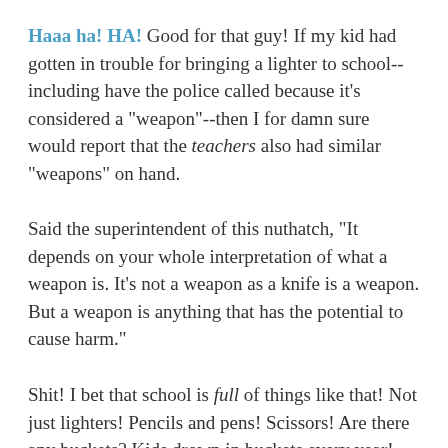Haaa ha! HA! Good for that guy! If my kid had gotten in trouble for bringing a lighter to school--including have the police called because it's considered a "weapon"--then I for damn sure would report that the teachers also had similar "weapons" on hand.
Said the superintendent of this nuthatch, "It depends on your whole interpretation of what a weapon is. It's not a weapon as a knife is a weapon. But a weapon is anything that has the potential to cause harm."
Shit! I bet that school is full of things like that! Not just lighters! Pencils and pens! Scissors! Are there any buckets? Kids drown in buckets every year! What about sporting equipment? Hockey sticks and baseball bats are